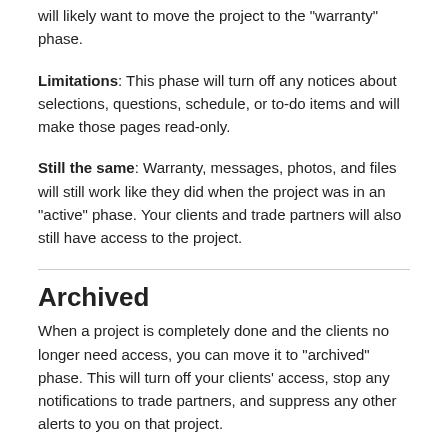will likely want to move the project to the "warranty" phase.
Limitations: This phase will turn off any notices about selections, questions, schedule, or to-do items and will make those pages read-only.
Still the same: Warranty, messages, photos, and files will still work like they did when the project was in an "active" phase. Your clients and trade partners will also still have access to the project.
Archived
When a project is completely done and the clients no longer need access, you can move it to "archived" phase. This will turn off your clients' access, stop any notifications to trade partners, and suppress any other alerts to you on that project.
Once a project is archived, you cannot un-archive it yourself. If you need to reactivate a project, please contact support so we can handle that for you.